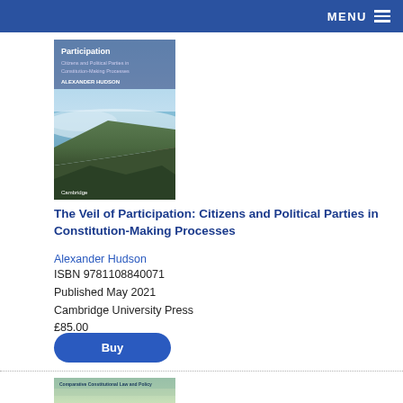MENU
[Figure (photo): Book cover of 'The Veil of Participation: Citizens and Political Parties in Constitution-Making Processes' by Alexander Hudson, showing a coastal cliff landscape with ocean, published by Cambridge University Press]
The Veil of Participation: Citizens and Political Parties in Constitution-Making Processes
Alexander Hudson
ISBN 9781108840071
Published May 2021
Cambridge University Press
£85.00
[Figure (photo): Partial view of a second book cover showing 'The Constitution' text, appears to be from the Comparative Constitutional Law and Policy series, with a green/beige abstract background]